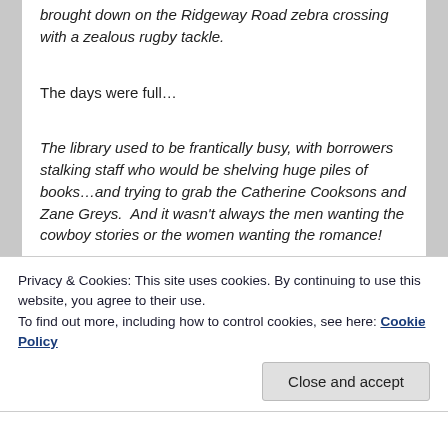brought down on the Ridgeway Road zebra crossing with a zealous rugby tackle.
The days were full…
The library used to be frantically busy, with borrowers stalking staff who would be shelving huge piles of books…and trying to grab the Catherine Cooksons and Zane Greys.  And it wasn't always the men wanting the cowboy stories or the women wanting the romance!
I worked there for five very happy years…with the National Fiction Reserve Scheme as part of my job, acquiring every 'fic' title published in the UK by authors whose surnames began N-
Privacy & Cookies: This site uses cookies. By continuing to use this website, you agree to their use.
To find out more, including how to control cookies, see here: Cookie Policy
Close and accept